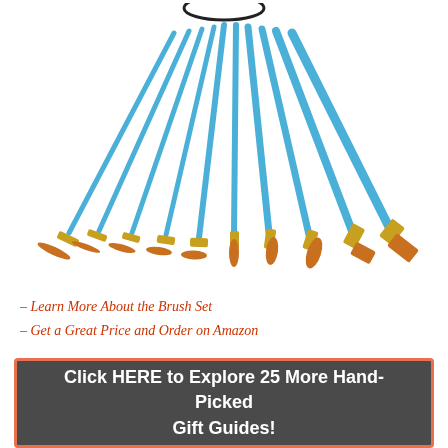[Figure (photo): Fan arrangement of paint brushes with blue handles and gold ferrules, showing various brush tip sizes from fine point to wide flat, fanning out from top center downward]
– Learn More About the Brush Set
– Get a Great Price and Order on Amazon
Click HERE to Explore 25 More Hand-Picked Gift Guides!